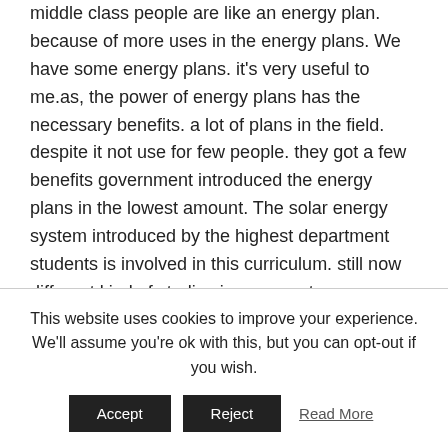middle class people are like an energy plan. because of more uses in the energy plans. We have some energy plans. it's very useful to me.as, the power of energy plans has the necessary benefits. a lot of plans in the field. despite it not use for few people. they got a few benefits government introduced the energy plans in the lowest amount. The solar energy system introduced by the highest department students is involved in this curriculum. still now different kind of studies in our country.
This website uses cookies to improve your experience. We'll assume you're ok with this, but you can opt-out if you wish.